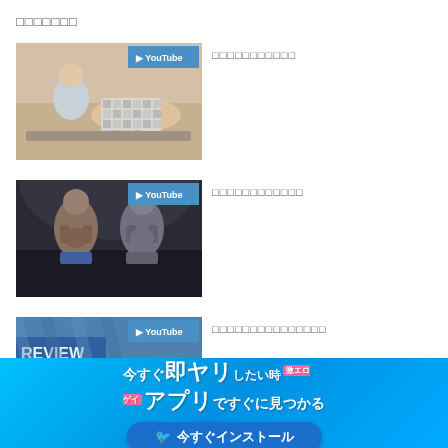□□□□□□□
[Figure (photo): YouTube thumbnail: person performing massage/bodywork on another person lying down]
□□□□□□□□□□□
[Figure (photo): YouTube thumbnail: two muscular bodybuilders posing on stage]
□□□□□□□□□□□□
[Figure (photo): YouTube thumbnail: REVIEW banner with blue/striped background]
□□□□□□□□□□□□□□□
[Figure (infographic): Advertisement banner: 今すぐ即ヤリしたい時アプリですぐに見つかる with 今すぐインストール button]